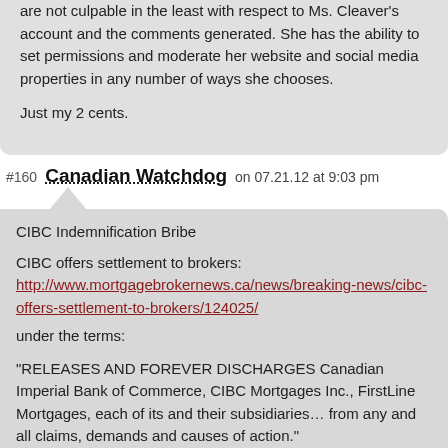are not culpable in the least with respect to Ms. Cleaver's account and the comments generated. She has the ability to set permissions and moderate her website and social media properties in any number of ways she chooses.

Just my 2 cents.
#160 Canadian Watchdog on 07.21.12 at 9:03 pm
CIBC Indemnification Bribe

CIBC offers settlement to brokers:
http://www.mortgagebrokernews.ca/news/breaking-news/cibc-offers-settlement-to-brokers/124025/

under the terms:

"RELEASES AND FOREVER DISCHARGES Canadian Imperial Bank of Commerce, CIBC Mortgages Inc., FirstLine Mortgages, each of its and their subsidiaries… from any and all claims, demands and causes of action."